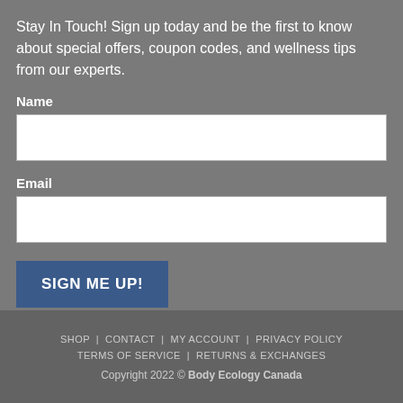Stay In Touch! Sign up today and be the first to know about special offers, coupon codes, and wellness tips from our experts.
Name
Email
SIGN ME UP!
SHOP  CONTACT  MY ACCOUNT  PRIVACY POLICY  TERMS OF SERVICE  RETURNS & EXCHANGES  Copyright 2022 © Body Ecology Canada